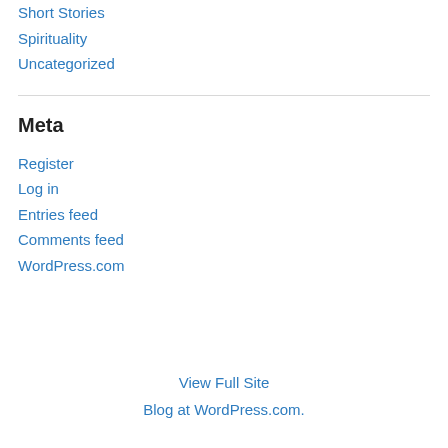Short Stories
Spirituality
Uncategorized
Meta
Register
Log in
Entries feed
Comments feed
WordPress.com
View Full Site
Blog at WordPress.com.